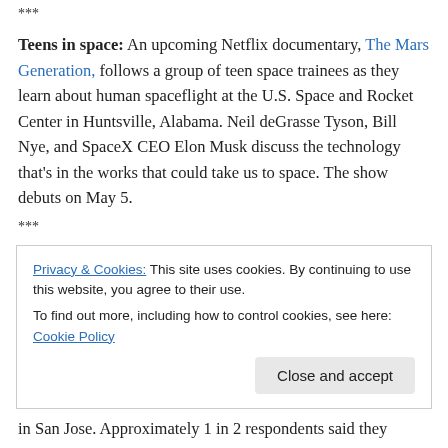***
Teens in space: An upcoming Netflix documentary, The Mars Generation, follows a group of teen space trainees as they learn about human spaceflight at the U.S. Space and Rocket Center in Huntsville, Alabama. Neil deGrasse Tyson, Bill Nye, and SpaceX CEO Elon Musk discuss the technology that’s in the works that could take us to space. The show debuts on May 5.
***
Privacy & Cookies: This site uses cookies. By continuing to use this website, you agree to their use.
To find out more, including how to control cookies, see here: Cookie Policy
in San Jose. Approximately 1 in 2 respondents said they